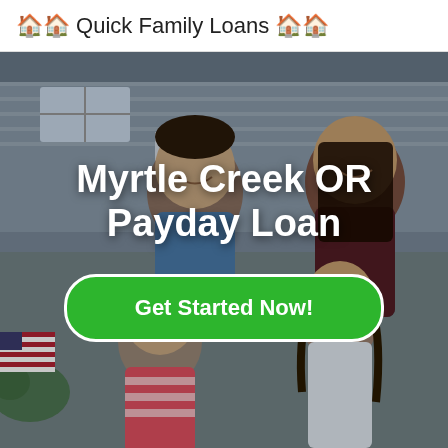🏠 Quick Family Loans 🏠
[Figure (photo): A smiling family of four — father, mother, and two daughters — standing in front of a house. One child holds a small American flag. The family appears happy and is posed together outside.]
Myrtle Creek OR Payday Loan
Get Started Now!